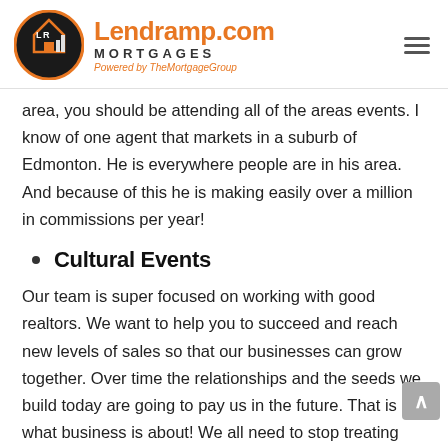Lendramp.com MORTGAGES Powered by TheMortgageGroup
area, you should be attending all of the areas events. I know of one agent that markets in a suburb of Edmonton. He is everywhere people are in his area. And because of this he is making easily over a million in commissions per year!
Cultural Events
Our team is super focused on working with good realtors. We want to help you to succeed and reach new levels of sales so that our businesses can grow together. Over time the relationships and the seeds we build today are going to pay us in the future. That is what business is about! We all need to stop treating our businesses as single transactions and focus on the long term strategies that will pay us on our days off. I personally know realtors that are not even living in